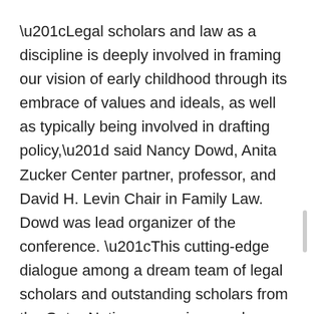“Legal scholars and law as a discipline is deeply involved in framing our vision of early childhood through its embrace of values and ideals, as well as typically being involved in drafting policy,” said Nancy Dowd, Anita Zucker Center partner, professor, and David H. Levin Chair in Family Law. Dowd was lead organizer of the conference. “This cutting-edge dialogue among a dream team of legal scholars and outstanding scholars from the Gator Nation was unique and amazing.”
About 25 distinguished legal and early childhood scholars from around the country joined in focused discussions, talking through core concepts around inequality, legal precedents and solutions, and building